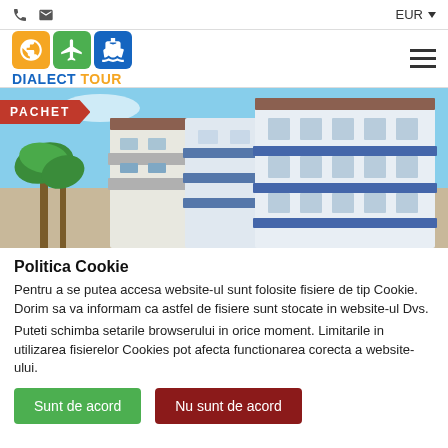EUR
[Figure (logo): Dialect Tour logo with globe, airplane, and ship icons in orange, green, and blue squares, with text DIALECT TOUR below]
[Figure (photo): Exterior of a Greek-style white hotel building with blue balcony railings and palm trees under a blue sky. Red banner with text PACHET in top-left corner.]
Politica Cookie
Pentru a se putea accesa website-ul sunt folosite fisiere de tip Cookie. Dorim sa va informam ca astfel de fisiere sunt stocate in website-ul Dvs.
Puteti schimba setarile browserului in orice moment. Limitarile in utilizarea fisierelor Cookies pot afecta functionarea corecta a website-ului.
Sunt de acord
Nu sunt de acord